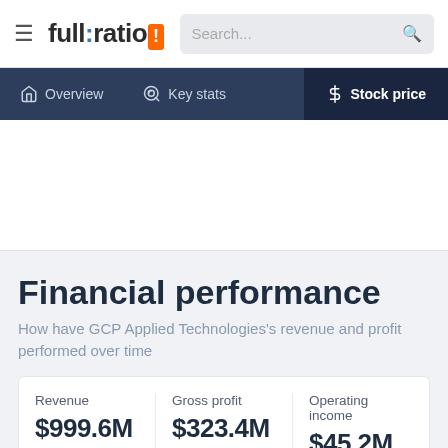full:ratio — Search...
Overview | Key stats | Stock price
Financial performance
How have GCP Applied Technologies's revenue and profit performed over time
| Revenue | Gross profit | Operating income |
| --- | --- | --- |
| $999.6M | $323.4M | $45.2M |